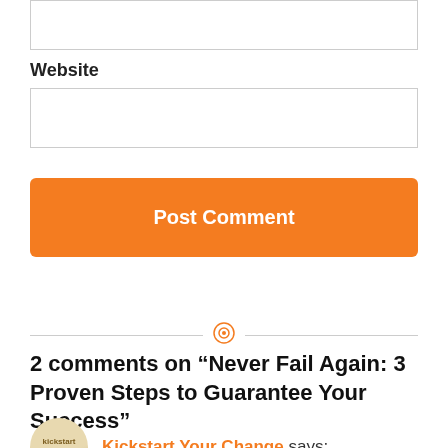[Figure (other): Empty input text box (top, partially visible)]
Website
[Figure (other): Empty input text box for website URL]
Post Comment
[Figure (other): Orange target/bullseye divider icon between two horizontal lines]
2 comments on “Never Fail Again: 3 Proven Steps to Guarantee Your Success”
[Figure (illustration): Circular avatar with kickstart your change logo/text]
Kickstart Your Change says: